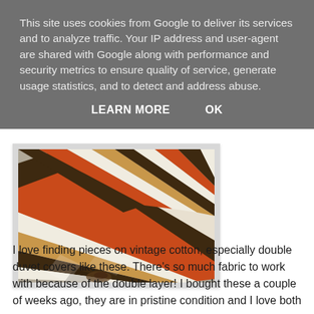This site uses cookies from Google to deliver its services and to analyze traffic. Your IP address and user-agent are shared with Google along with performance and security metrics to ensure quality of service, generate usage statistics, and to detect and address abuse.
LEARN MORE    OK
[Figure (photo): Close-up photograph of vintage striped cotton fabric/duvet cover with orange, brown, white, and tan diagonal stripes, bunched together showing texture and layers.]
I love finding pieces on vintage cotton, especially double duvet covers like these. There's so much fabric to work with because of the double layer! I bought these a couple of weeks ago, they are in pristine condition and I love both